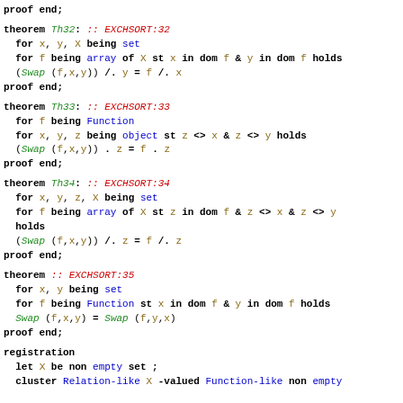proof end;
theorem Th32: :: EXCHSORT:32
  for x, y, X being set
  for f being array of X st x in dom f & y in dom f holds
  (Swap (f,x,y)) /. y = f /. x
proof end;
theorem Th33: :: EXCHSORT:33
  for f being Function
  for x, y, z being object st z <> x & z <> y holds
  (Swap (f,x,y)) . z = f . z
proof end;
theorem Th34: :: EXCHSORT:34
  for x, y, z, X being set
  for f being array of X st z in dom f & z <> x & z <> y
  holds
  (Swap (f,x,y)) /. z = f /. z
proof end;
theorem :: EXCHSORT:35
  for x, y being set
  for f being Function st x in dom f & y in dom f holds
  Swap (f,x,y) = Swap (f,y,x)
proof end;
registration
  let X be non empty set ;
  cluster Relation-like X -valued Function-like non empty